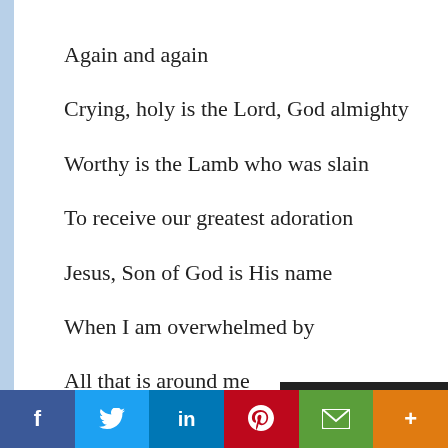Again and again
Crying, holy is the Lord, God almighty
Worthy is the Lamb who was slain
To receive our greatest adoration
Jesus, Son of God is His name
When I am overwhelmed by
All that is around me
And the tears
f  Twitter  in  Pinterest  Mail  +